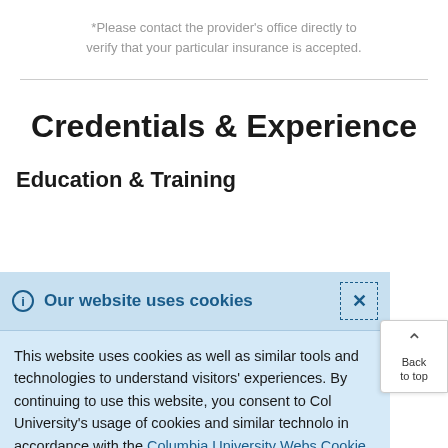*Please contact the provider’s office directly to verify that your particular insurance is accepted.
Credentials & Experience
Education & Training
Our website uses cookies
This website uses cookies as well as similar tools and technologies to understand visitors’ experiences. By continuing to use this website, you consent to Columbia University’s usage of cookies and similar technologies in accordance with the Columbia University Website Cookie Notice.